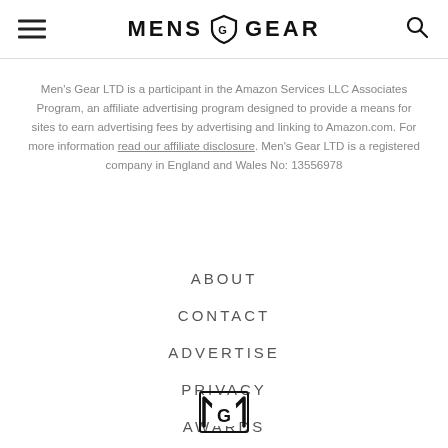MENS GEAR
Men's Gear LTD is a participant in the Amazon Services LLC Associates Program, an affiliate advertising program designed to provide a means for sites to earn advertising fees by advertising and linking to Amazon.com. For more information read our affiliate disclosure. Men's Gear LTD is a registered company in England and Wales No: 13556978
ABOUT
CONTACT
ADVERTISE
PRIVACY
AWARDS
[Figure (logo): Men's Gear logo mark at bottom of page]